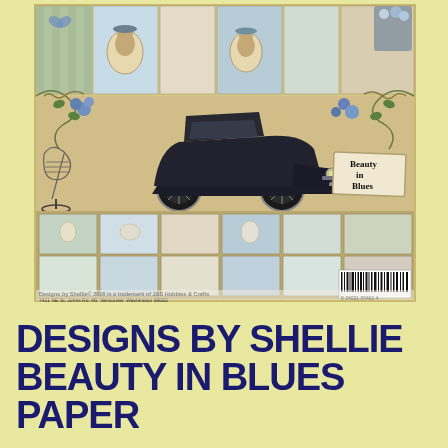[Figure (photo): Product image of 'Beauty in Blues' scrapbook paper pack by Designs by Shellie. Shows decorative patterned papers in blue, cream, and green tones, featuring a vintage black car, a wire dress form, Victorian-era women portraits, flowers, and decorative frames. Label reads 'Beauty in Blues'. Bottom shows barcode and fine print text: Designs by Shellie© 2016 is a trademark of J&S Hobbies & Crafts, 7411 NE St. Johns Rd. #B, Vancouver, Washington 98665]
DESIGNS BY SHELLIE BEAUTY IN BLUES PAPER